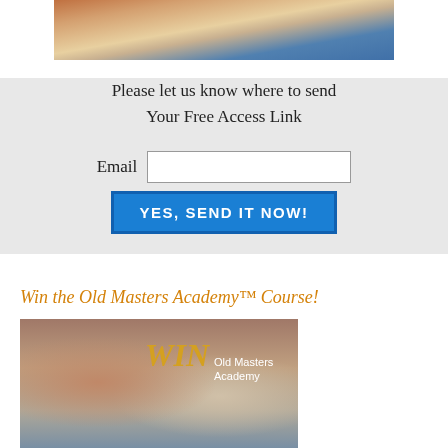[Figure (photo): Top portion of a photo showing a woman painting, cropped at the bottom of the frame]
Please let us know where to send Your Free Access Link
Email
[Figure (other): Email input field and YES, SEND IT NOW! submit button]
Win the Old Masters Academy™ Course!
[Figure (photo): Composite photo showing a classical painting of a reclining woman and a modern woman, with WIN Old Masters Academy text overlay]